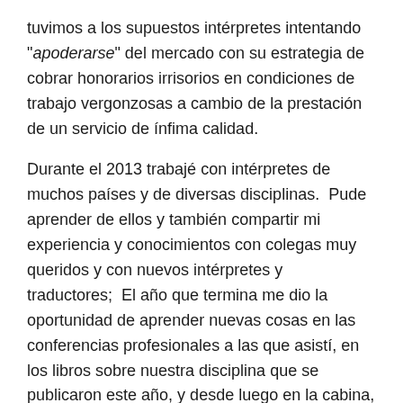tuvimos a los supuestos intérpretes intentando "apoderarse" del mercado con su estrategia de cobrar honorarios irrisorios en condiciones de trabajo vergonzosas a cambio de la prestación de un servicio de ínfima calidad.
Durante el 2013 trabajé con intérpretes de muchos países y de diversas disciplinas.  Pude aprender de ellos y también compartir mi experiencia y conocimientos con colegas muy queridos y con nuevos intérpretes y traductores;  El año que termina me dio la oportunidad de aprender nuevas cosas en las conferencias profesionales a las que asistí, en los libros sobre nuestra disciplina que se publicaron este año, y desde luego en la cabina, el juzgado, el banquete y el estudio.
Este año me dio la satisfacción de ver como varios de mis